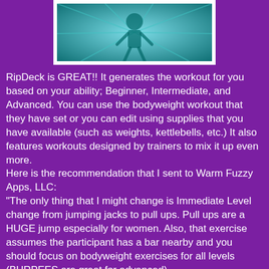[Figure (photo): Partial image of a teal/turquoise colored graphic or photo at the top of the page, framed with a white border]
RipDeck is GREAT!!  It generates the workout for you based on your ability; Beginner, Intermediate, and Advanced.  You can use the bodyweight workout that they have set or you can edit using supplies that you have available (such as weights, kettlebells, etc.)  It also features workouts designed by trainers to mix it up even more.
Here is the recommendation that I sent to Warm Fuzzy Apps, LLC:
"The only thing that I might change is Immediate Level change from jumping jacks to pull ups.  Pull ups are a HUGE jump especially for women.  Also, that exercise assumes the participant has a bar nearby and you should focus on bodyweight exercises for all levels (BURPEES are great for advanced).
Here is an alternative workout (only bodyweight and covers WHOLE BODY):